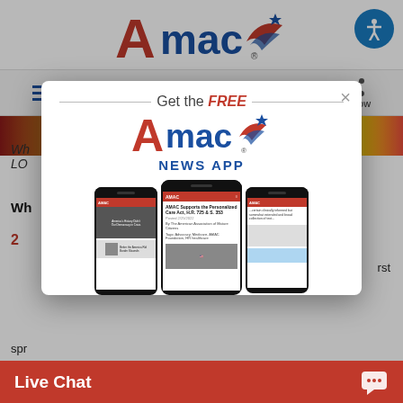[Figure (logo): AMAC logo - red A, blue 'mac' text with eagle wing swoosh and star, registered trademark symbol]
[Figure (screenshot): AMAC website navigation bar with hamburger menu, JOIN, LOGIN, search icon, and Follow/share icon on gray background]
[Figure (screenshot): Modal popup on AMAC website showing 'Get the FREE AMAC NEWS APP' with phone mockups displaying AMAC news app content]
Wh... LO...
Wh...
2 ... rst
spr...
[Figure (screenshot): Live Chat red bar at bottom with chat bubble icon]